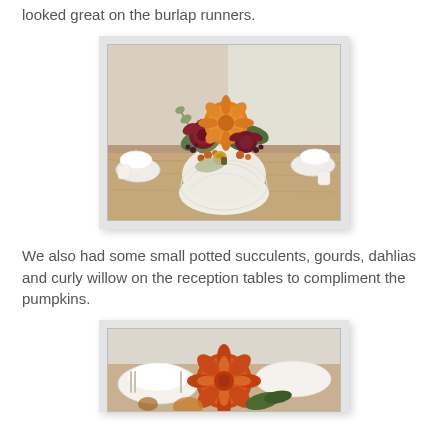looked great on the burlap runners.
[Figure (photo): A white pumpkin used as a floral vase containing orange dahlias, dark red flowers, and greenery, placed on a burlap table runner with white place settings and candles around it.]
We also had some small potted succulents, gourds, dahlias and curly willow on the reception tables to compliment the pumpkins.
[Figure (photo): An orange dahlia flower on a reception table with white plates and cutlery visible in the background.]